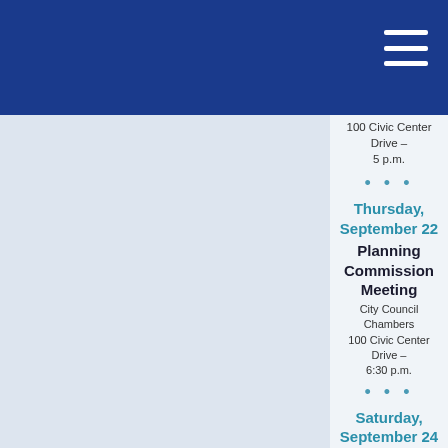100 Civic Center Drive – 5 p.m.
• • •
Thursday, September 22
Planning Commission Meeting
City Council Chambers 100 Civic Center Drive – 6:30 p.m.
• • •
Saturday, September 24
2022 Surf Championships
Amateurs Only
54th St. or 56th St. – 8 a.m.
• • •
Sunday, September 25
2022 Surf Championships
Amateurs Only
54th St. or 56th St.